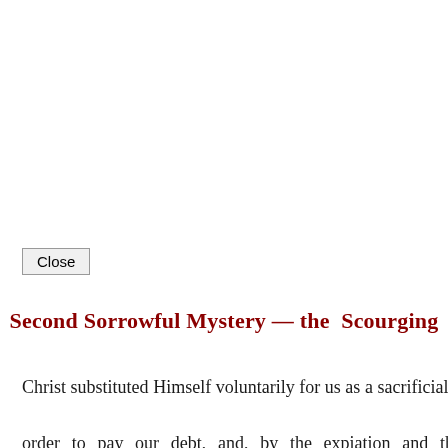Close
Second Sorrowful Mystery — the  Scourging
Christ substituted Himself voluntarily for us as a sacrificial v… order to pay our debt, and, by the expiation and the satisfactio… to restore the Divine life to us. This was the mission which C… course which He had to run. "God has placed upon Him… ourselves, of the race of Adam, but entirely just and innoce…